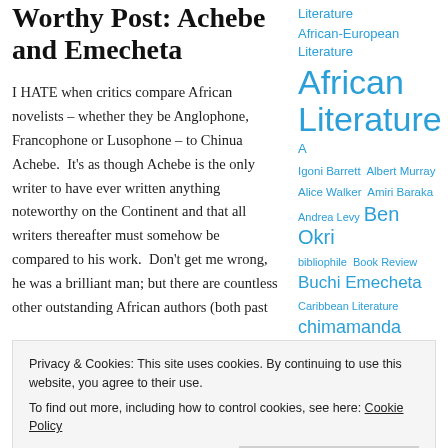Worthy Post: Achebe and Emecheta
I HATE when critics compare African novelists – whether they be Anglophone, Francophone or Lusophone – to Chinua Achebe.  It's as though Achebe is the only writer to have ever written anything noteworthy on the Continent and that all writers thereafter must somehow be compared to his work.  Don't get me wrong, he was a brilliant man; but there are countless other outstanding African authors (both past
Literature
African-European Literature
African Literature
A
Igoni Barrett Albert Murray
Alice Walker Amiri Baraka
Andrea Levy Ben Okri
bibliophile Book Review
Buchi Emecheta
Caribbean Literature
chimamanda ngozi adichie Chinua Achebe
Colson Whitehead Dominican Republic Edouard Maunick
Edward P Jones
Privacy & Cookies: This site uses cookies. By continuing to use this website, you agree to their use.
To find out more, including how to control cookies, see here: Cookie Policy
Close and accept
particularly one coming from Nigeria.  Buchi
habila History